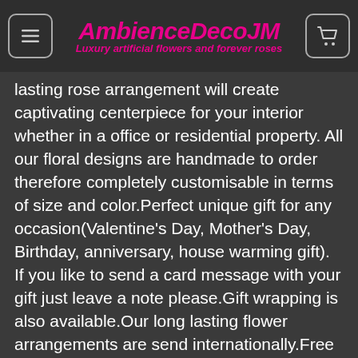AmbienceDecoJM – Luxury artificial flowers and forever roses
lasting rose arrangement will create captivating centerpiece for your interior whether in a office or residential property. All our floral designs are handmade to order therefore completely customisable in terms of size and color.Perfect unique gift for any occasion(Valentine's Day, Mother's Day, Birthday, anniversary, house warming gift). If you like to send a card message with your gift just leave a note please.Gift wrapping is also available.Our long lasting flower arrangements are send internationally.Free UK delivery. if you cannot find Preserved Purple Roses in a Vase, you looking for Email us a photo of your interior and we will design something perfect for you. Please do not hesitate to contact